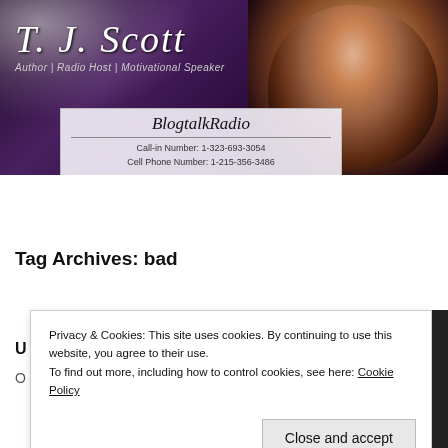[Figure (photo): Website header banner for T. J. Scott featuring name in italic serif font, subtitle 'Author | Radio Host | Motivational Speaker', BlogtalkRadio contact info box, dark purple/black background, and a photo of a smiling woman on the right side.]
Out of a Pure Heart Ministries
Tag Archives: bad
Privacy & Cookies: This site uses cookies. By continuing to use this website, you agree to their use.
To find out more, including how to control cookies, see here: Cookie Policy
Close and accept